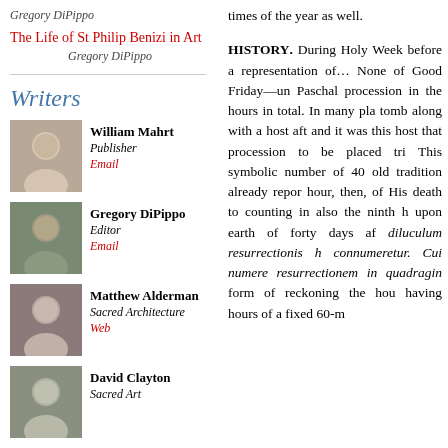Gregory DiPippo
The Life of St Philip Benizi in Art
Gregory DiPippo
Writers
William Mahrt
Publisher
Email
Gregory DiPippo
Editor
Email
Matthew Alderman
Sacred Architecture
Web
David Clayton
Sacred Art
times of the year as well.

HISTORY. During Holy We... before a representation of... None of Good Friday—un... Paschal procession in the... hours in total. In many pla... tomb along with a host aft... and it was this host that... procession to be placed tri... This symbolic number of 40... old tradition already repor... hour, then, of His death to... counting in also the ninth h... upon earth of forty days af... diluculum resurrectionis h... connumeretur. Cui numere... resurrectionem in quadragin... form of reckoning the hou... having hours of a fixed 60-m...